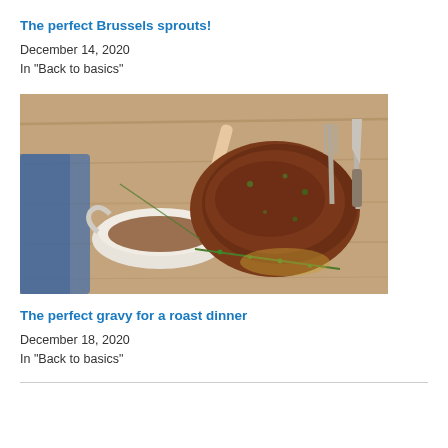The perfect Brussels sprouts!
December 14, 2020
In "Back to basics"
[Figure (photo): A roasted lamb leg on a wooden cutting board with a gravy boat, rosemary sprigs, and cutlery]
The perfect gravy for a roast dinner
December 18, 2020
In "Back to basics"